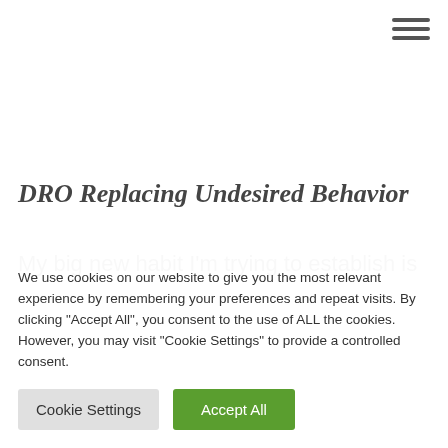[Figure (other): Hamburger menu icon (three horizontal lines) in top-right corner]
DRO Replacing Undesired Behavior
My big new habit I'm trying to establish is
We use cookies on our website to give you the most relevant experience by remembering your preferences and repeat visits. By clicking "Accept All", you consent to the use of ALL the cookies. However, you may visit "Cookie Settings" to provide a controlled consent.